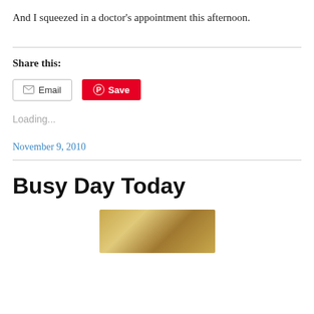And I squeezed in a doctor’s appointment this afternoon.
Share this:
Loading...
November 9, 2010
Busy Day Today
[Figure (photo): Partial thumbnail image showing a golden/bronze colored object, bottom portion cut off]